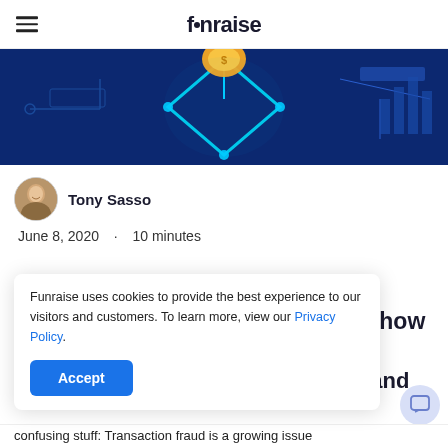funraise
[Figure (illustration): A blue digital/tech themed banner image with a humanoid robot figure with glowing cyan/blue outlines holding a gold coin, on a dark blue circuit board background with bar chart graphics.]
Tony Sasso
June 8, 2020  ·  10 minutes
Funraise uses cookies to provide the best experience to our visitors and customers. To learn more, view our Privacy Policy.
Accept
and how
y and
confusing stuff: Transaction fraud is a growing issue